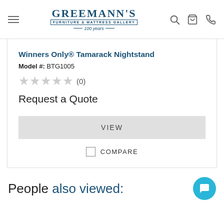Greemann's Furniture & Mattress Gallery 100 years
Winners Only® Tamarack Nightstand
Model #: BTG1005
★★★★★ (0)
Request a Quote
VIEW
COMPARE
People also viewed: